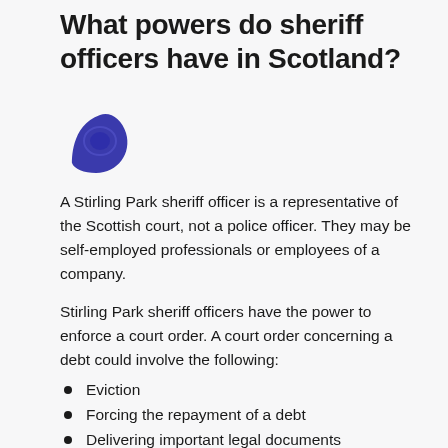What powers do sheriff officers have in Scotland?
[Figure (logo): Stirling Park logo — a dark navy/purple leaf or teardrop shape icon with a lighter blue circular element inside]
A Stirling Park sheriff officer is a representative of the Scottish court, not a police officer. They may be self-employed professionals or employees of a company.
Stirling Park sheriff officers have the power to enforce a court order. A court order concerning a debt could involve the following:
Eviction
Forcing the repayment of a debt
Delivering important legal documents